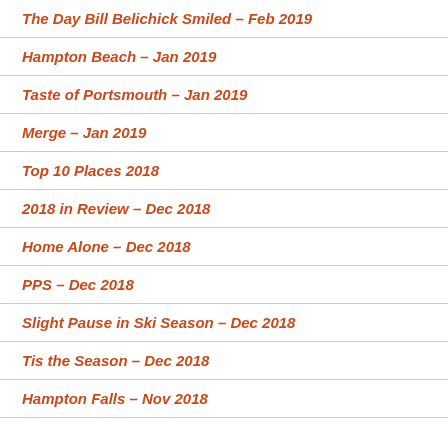The Day Bill Belichick Smiled – Feb 2019
Hampton Beach – Jan 2019
Taste of Portsmouth – Jan 2019
Merge – Jan 2019
Top 10 Places 2018
2018 in Review – Dec 2018
Home Alone – Dec 2018
PPS – Dec 2018
Slight Pause in Ski Season – Dec 2018
Tis the Season – Dec 2018
Hampton Falls – Nov 2018